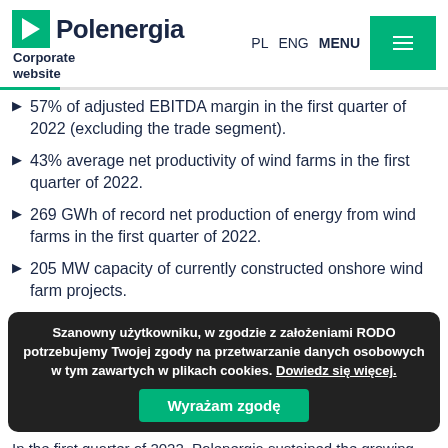Polenergia Corporate website
57% of adjusted EBITDA margin in the first quarter of 2022 (excluding the trade segment).
43% average net productivity of wind farms in the first quarter of 2022.
269 GWh of record net production of energy from wind farms in the first quarter of 2022.
205 MW capacity of currently constructed onshore wind farm projects.
Szanowny użytkowniku, w zgodzie z założeniami RODO potrzebujemy Twojej zgody na przetwarzanie danych osobowych w tym zawartych w plikach cookies. Dowiedz się więcej. Wyrażam zgodę
In the first quarter of 2022, Polenergia sustained the growing trend accomplishing results on the level of adjusted EBITDA